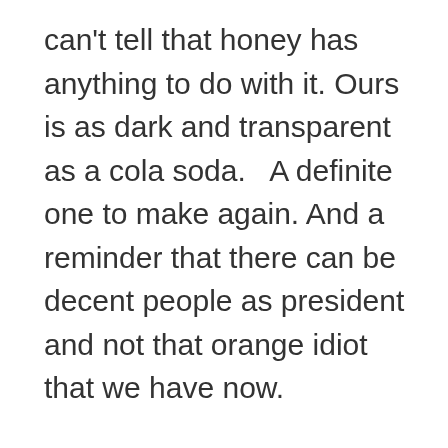can't tell that honey has anything to do with it. Ours is as dark and transparent as a cola soda.   A definite one to make again. And a reminder that there can be decent people as president and not that orange idiot that we have now.

I also bought NBs Don't be